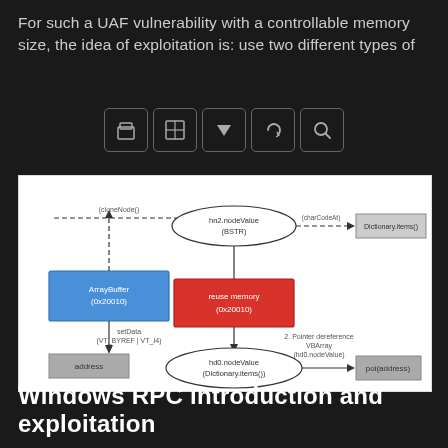For such a UAF vulnerability with a controllable memory size, the idea of exploitation is: use two different types of
[Figure (flowchart): A flowchart diagram showing UAF exploitation with ArrayBuffer (0x20010) in blue, reuse memory (0x20010) in red, connected to nodeValue nodes and Dictionary.items(), address, and poi(address) nodes with dashed and solid arrows, illustrating use-after-free exploitation flow.]
Windows RPC introduction and exploitation